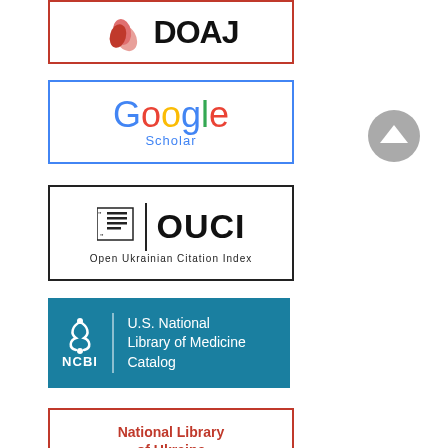[Figure (logo): DOAJ (Directory of Open Access Journals) logo with red leaf icons and bold black text, inside red border box]
[Figure (logo): Google Scholar logo with multicolored Google text and blue Scholar text, inside blue border box]
[Figure (logo): OUCI (Open Ukrainian Citation Index) logo with newspaper icon, vertical divider, bold OUCI text and subtitle, inside black border box]
[Figure (logo): NCBI National Library of Medicine Catalog logo with snake symbol on teal/blue background]
[Figure (logo): National Library of Ukraine Vernadsky logo with orange text and architectural graphic, inside orange border box]
[Figure (other): Gray circular up-arrow button on right side of page]